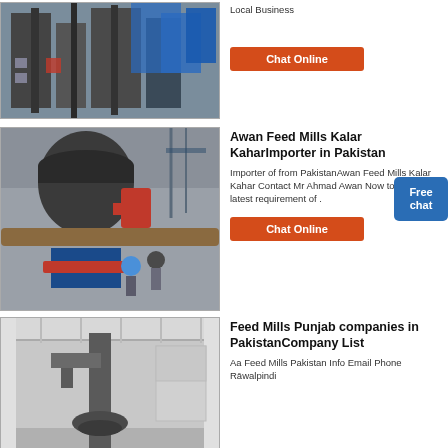[Figure (photo): Industrial facility exterior with blue structures and pipes, viewed from below]
Local Business
Chat Online
[Figure (photo): Large industrial grinding mill machine with red and blue parts, workers in hard hats nearby]
Awan Feed Mills Kalar KaharImporter in Pakistan
Importer of from PakistanAwan Feed Mills Kalar Kahar Contact Mr Ahmad Awan Now to find their latest requirement of .
Chat Online
[Figure (photo): Interior of an industrial building with ventilation ducts and pipes, warehouse setting]
Feed Mills Punjab companies in PakistanCompany List
Aa Feed Mills Pakistan Info Email Phone Rāwalpindi